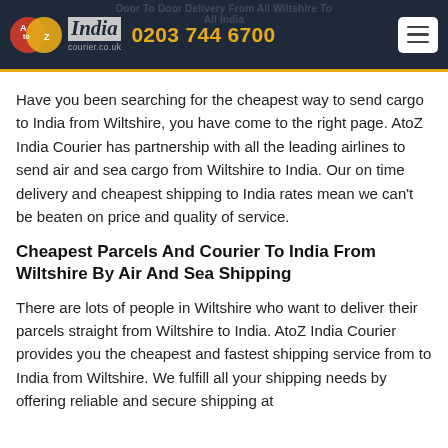Door To Door Delivery From All Wiltshire To All India — AtoZ India Courier — 0203 744 6700
Have you been searching for the cheapest way to send cargo to India from Wiltshire, you have come to the right page. AtoZ India Courier has partnership with all the leading airlines to send air and sea cargo from Wiltshire to India. Our on time delivery and cheapest shipping to India rates mean we can't be beaten on price and quality of service.
Cheapest Parcels And Courier To India From Wiltshire By Air And Sea Shipping
There are lots of people in Wiltshire who want to deliver their parcels straight from Wiltshire to India. AtoZ India Courier provides you the cheapest and fastest shipping service from to India from Wiltshire. We fulfill all your shipping needs by offering reliable and secure shipping at